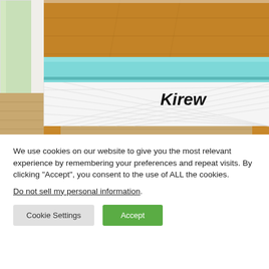[Figure (photo): Photo of a mattress topper (light blue/teal gel foam) placed on top of a white quilted mattress with diamond pattern, both sitting in a wooden bed frame. The mattress side reads 'Kirew' in italic text. Background shows a bright room with a window.]
We use cookies on our website to give you the most relevant experience by remembering your preferences and repeat visits. By clicking “Accept”, you consent to the use of ALL the cookies.
Do not sell my personal information.
Cookie Settings
Accept